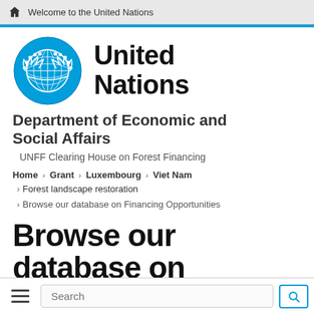Welcome to the United Nations
[Figure (logo): United Nations emblem (blue globe with laurel wreath) alongside 'United Nations' in bold black text]
Department of Economic and Social Affairs
UNFF Clearing House on Forest Financing
Home › Grant › Luxembourg › Viet Nam
Forest landscape restoration
Browse our database on Financing Opportunities
Browse our database on Financing Opportunities